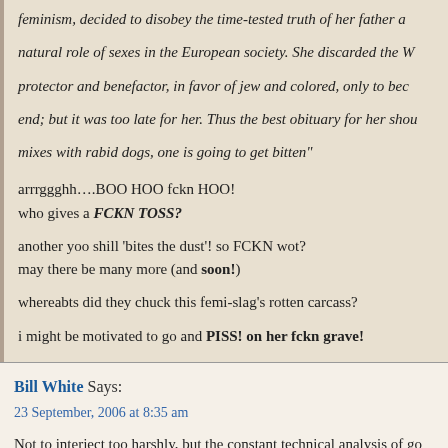feminism, decided to disobey the time-tested truth of her father a... natural role of sexes in the European society. She discarded the W... protector and benefactor, in favor of jew and colored, only to bec... end; but it was too late for her. Thus the best obituary for her shou... mixes with rabid dogs, one is going to get bitten"
arrrggghh….BOO HOO fckn HOO!
who gives a FCKN TOSS?
another yoo shill 'bites the dust'! so FCKN wot?
may there be many more (and soon!)
whereabts did they chuck this femi-slag's rotten carcass?
i might be motivated to go and PISS! on her fckn grave!
Bill White Says:
23 September, 2006 at 8:35 am
Not to interject too harshly, but the constant technical analysis of go... foolish.
Short term fluctuations in commodity prices are essentially random... over the long term fluctuations.
Long term fluctuations are dependent on currency policy and the sta...
If you're going to predict changes in gold prices over periods of mo... something sensible. If you can't link them to something sensi...